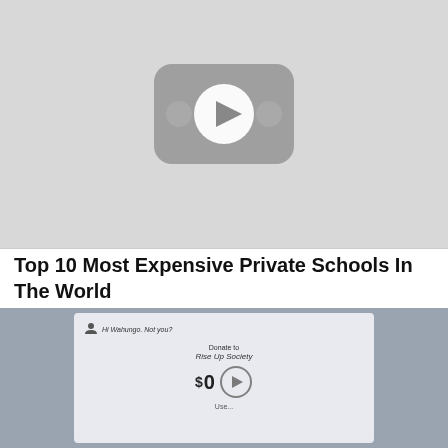[Figure (screenshot): YouTube video thumbnail placeholder showing a grey YouTube play button icon on a light grey background]
Top 10 Most Expensive Private Schools In The World
[Figure (screenshot): Screenshot of a computer screen showing a donation page with 'Hi Wahungo. Not you?', 'Donate to Rise Up Society', amount '$0', and a video play button overlay]